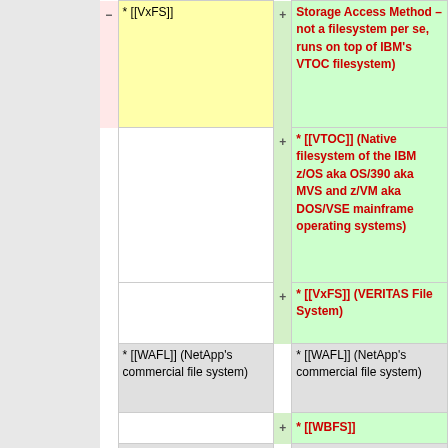|  | Left (old) |  | Right (new) |
| --- | --- | --- | --- |
| - | * [[VxFS]] | + | Storage Access Method – not a filesystem per se, runs on top of IBM's VTOC filesystem) |
|  |  | + | * [[VTOC]] (Native filesystem of the IBM z/OS aka OS/390 aka MVS and z/VM aka DOS/VSE mainframe operating systems) |
|  |  | + | * [[VxFS]] (VERITAS File System) |
|  | * [[WAFL]] (NetApp's commercial file system) |  | * [[WAFL]] (NetApp's commercial file system) |
|  |  | + | * [[WBFS]] |
|  | * [[Xiafs]] (Linux, dropped in favour of ext2) |  | * [[Xiafs]] (Linux, dropped in favour of ext2) |
|  | * [[XFS]] (SGI) |  | * [[XFS]] (SGI) |
|  | * [[XtreemFS]], |  |  |